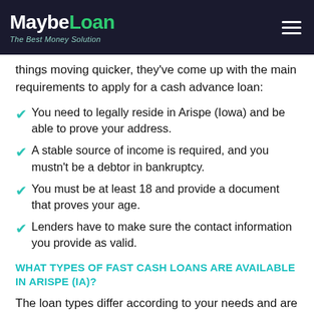MaybeLoan — The Best Money Solution
things moving quicker, they've come up with the main requirements to apply for a cash advance loan:
You need to legally reside in Arispe (Iowa) and be able to prove your address.
A stable source of income is required, and you mustn't be a debtor in bankruptcy.
You must be at least 18 and provide a document that proves your age.
Lenders have to make sure the contact information you provide as valid.
WHAT TYPES OF FAST CASH LOANS ARE AVAILABLE IN ARISPE (IA)?
The loan types differ according to your needs and are packaged with certain benefits for particular